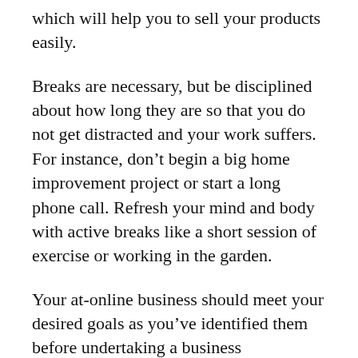which will help you to sell your products easily.
Breaks are necessary, but be disciplined about how long they are so that you do not get distracted and your work suffers. For instance, don't begin a big home improvement project or start a long phone call. Refresh your mind and body with active breaks like a short session of exercise or working in the garden.
Your at-online business should meet your desired goals as you've identified them before undertaking a business opportunity. Running your own business can be one of the most fulling things you will ever do. The information in the article you've just read will help you build